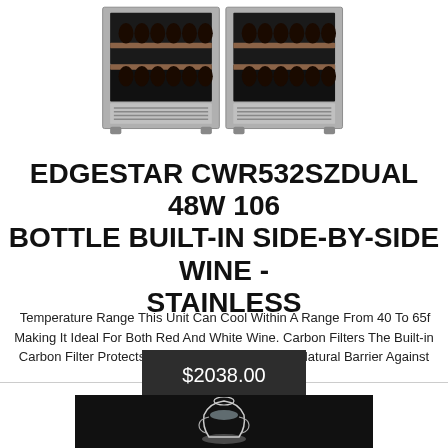[Figure (photo): Product photo of EdgeStar CWR532SZDUAL wine cooler, stainless steel side-by-side unit]
EDGESTAR CWR532SZDUAL 48W 106 BOTTLE BUILT-IN SIDE-BY-SIDE WINE - STAINLESS
Temperature Range This Unit Can Cool Within A Range From 40 To 65f Making It Ideal For Both Red And White Wine. Carbon Filters The Built-in Carbon Filter Protects Your Wine By Acting As A Natural Barrier Against Unpleasant Odors.
$2038.00
[Figure (photo): Product photo of a decorative vase on black background]